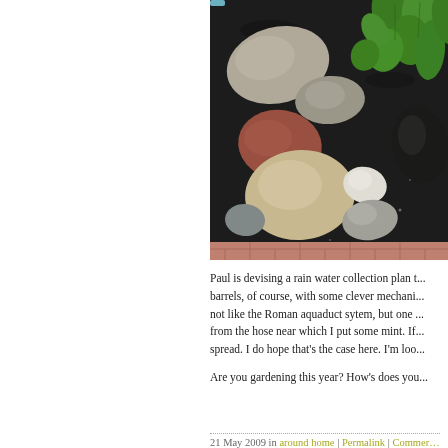[Figure (photo): Close-up photo of a garden bed with various smooth stones and pebbles of different colors (grey, reddish, tan, white) arranged in dark soil, with green leafy plants (mint) visible in the upper right, and a red brick border at the bottom.]
Paul is devising a rain water collection plan t... barrels, of course, with some clever mechani... not like the Roman aquaduct sytem, but one ... from the hose near which I put some mint. If... spread. I do hope that's the case here. I'm loo...
Are you gardening this year? How's does you...
21 May 2009 in around home | Permalink | Commer...